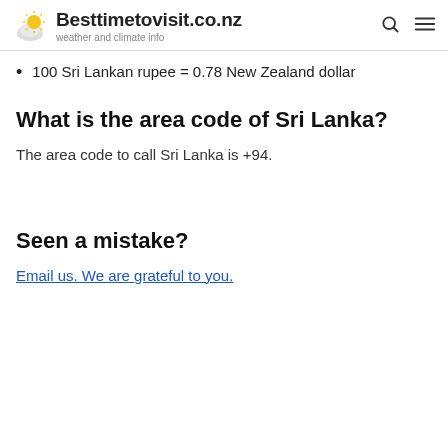Besttimetovisit.co.nz — weather and climate info
100 Sri Lankan rupee = 0.78 New Zealand dollar
What is the area code of Sri Lanka?
The area code to call Sri Lanka is +94.
Seen a mistake?
Email us. We are grateful to you.